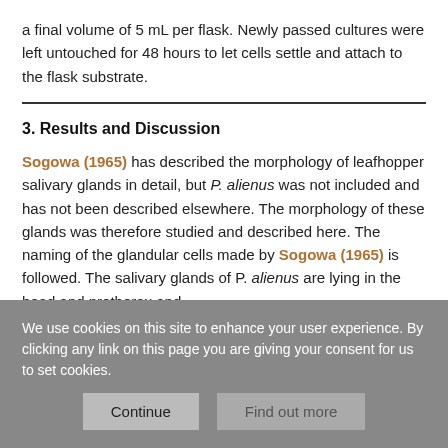a final volume of 5 mL per flask. Newly passed cultures were left untouched for 48 hours to let cells settle and attach to the flask substrate.
3. Results and Discussion
Sogowa (1965) has described the morphology of leafhopper salivary glands in detail, but P. alienus was not included and has not been described elsewhere. The morphology of these glands was therefore studied and described here. The naming of the glandular cells made by Sogowa (1965) is followed. The salivary glands of P. alienus are lying in the head and prothorax and
We use cookies on this site to enhance your user experience. By clicking any link on this page you are giving your consent for us to set cookies.